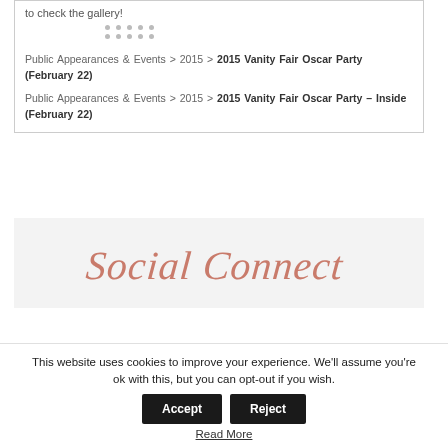to check the gallery!
Public Appearances & Events > 2015 > 2015 Vanity Fair Oscar Party (February 22)
Public Appearances & Events > 2015 > 2015 Vanity Fair Oscar Party – Inside (February 22)
[Figure (illustration): Social Connect handwritten-style heading on grey background]
This website uses cookies to improve your experience. We'll assume you're ok with this, but you can opt-out if you wish. Accept Reject Read More